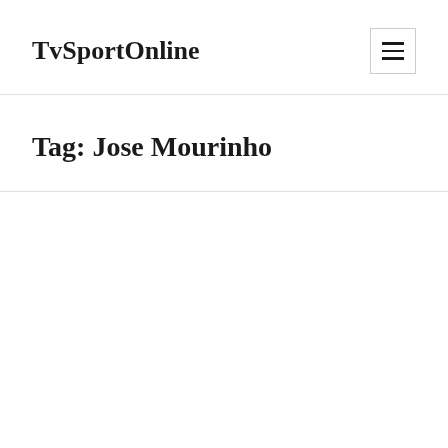TvSportOnline
Tag: Jose Mourinho